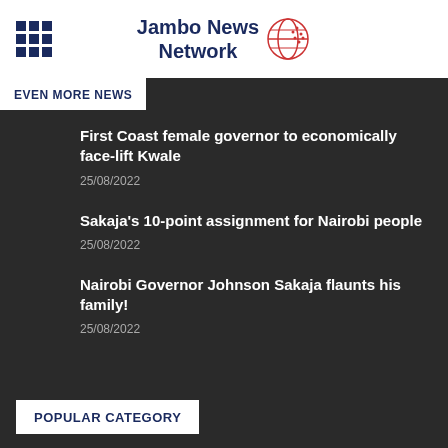Jambo News Network
EVEN MORE NEWS
First Coast female governor to economically face-lift Kwale
25/08/2022
Sakaja's 10-point assignment for Nairobi people
25/08/2022
Nairobi Governor Johnson Sakaja flaunts his family!
25/08/2022
POPULAR CATEGORY